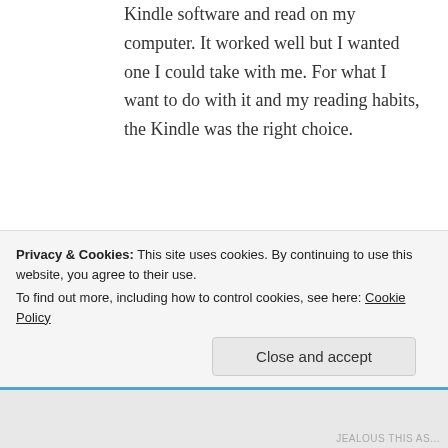Kindle software and read on my computer. It worked well but I wanted one I could take with me. For what I want to do with it and my reading habits, the Kindle was the right choice.
Susan Baar | June 14, 2011 at 10:17 am | Reply
Hi Karen,
Privacy & Cookies: This site uses cookies. By continuing to use this website, you agree to their use.
To find out more, including how to control cookies, see here: Cookie Policy
Close and accept